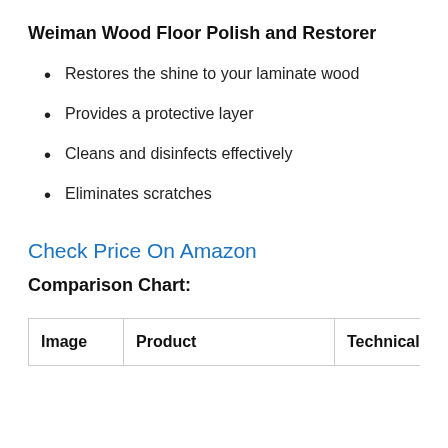Weiman Wood Floor Polish and Restorer
Restores the shine to your laminate wood
Provides a protective layer
Cleans and disinfects effectively
Eliminates scratches
Check Price On Amazon
Comparison Chart:
| Image | Product | Technical Spec | Pri |
| --- | --- | --- | --- |